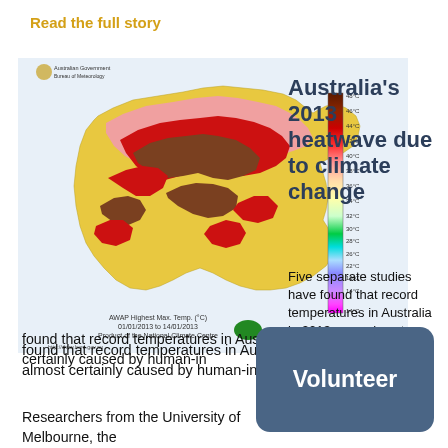Read the full story
[Figure (map): Australian Government Bureau of Meteorology heat map showing AWAP Highest Max. Temp. (°C) from 01/01/2013 to 14/01/2013, Product of the National Climate Centre. The map shows extreme temperatures across Australia with a colour scale from purple/magenta (14°C) through green, cyan, blue, yellow, pink, red to dark brown (48°C+). Most of inland Australia shows red and dark brown indicating temperatures above 40-48°C.]
Australia's 2013 heatwave due to climate change
Five separate studies have found that record temperatures in Australia in 2013 were almost certainly caused by human-induced climate change.
Researchers from the University of Melbourne, the